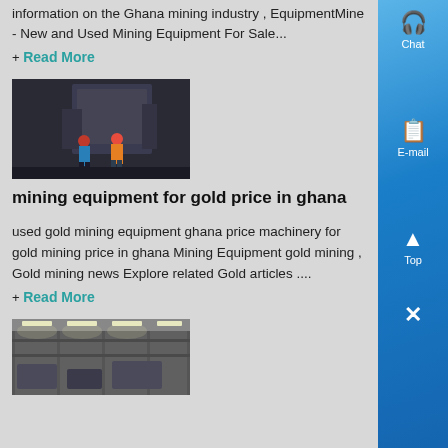information on the Ghana mining industry , EquipmentMine - New and Used Mining Equipment For Sale...
+ Read More
[Figure (photo): Two workers in hard hats and coveralls standing near large industrial mining equipment]
mining equipment for gold price in ghana
used gold mining equipment ghana price machinery for gold mining price in ghana Mining Equipment gold mining , Gold mining news Explore related Gold articles ....
+ Read More
[Figure (photo): Interior of an industrial factory or processing facility with overhead lighting and equipment]